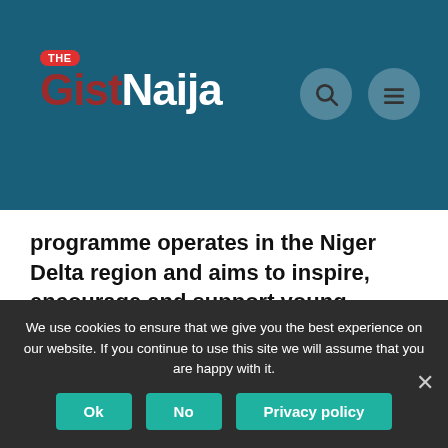[Figure (logo): The GistNaija logo on dark teal header background with search and menu icons]
programme operates in the Niger Delta region and aims to inspire, encourage and support young people aged 18-30 to start up their own businesses in the Nigerian states of Edo, Delta, Bayelsa, Rivers, Abia, Imo, and Akwa-Ibom.
We use cookies to ensure that we give you the best experience on our website. If you continue to use this site we will assume that you are happy with it.